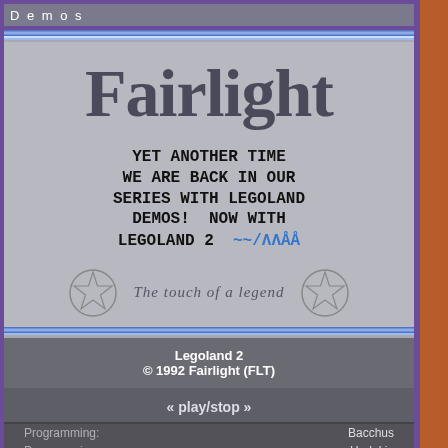Demos
Fairlight
YET ANOTHER TIME WE ARE BACK IN OUR SERIES WITH LEGOLAND DEMOS! NOW WITH LEGOLAND 2
The touch of a legend
Legoland 2
© 1992 Fairlight (FLT)
« play/stop »
Programming: Bacchus
Programming: Harlekin
Programming: Rowdy
Programming: Tron
Programming: Watchman
Graphics: Creeper